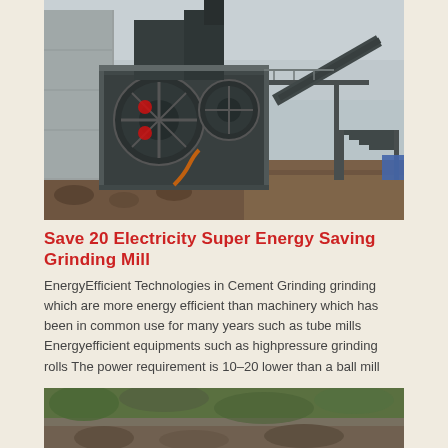[Figure (photo): Industrial grinding mill machinery at an outdoor mining or cement facility. Large dark metal crushing/grinding equipment with conveyor belt, scaffolding, and stairs. Overcast sky in background.]
Save 20 Electricity Super Energy Saving Grinding Mill
EnergyEfficient Technologies in Cement Grinding grinding which are more energy efficient than machinery which has been in common use for many years such as tube mills Energyefficient equipments such as highpressure grinding rolls The power requirement is 10–20 lower than a ball mill
[Figure (photo): Outdoor industrial site photo showing rocky terrain and mining equipment, partially visible at the bottom of the page.]